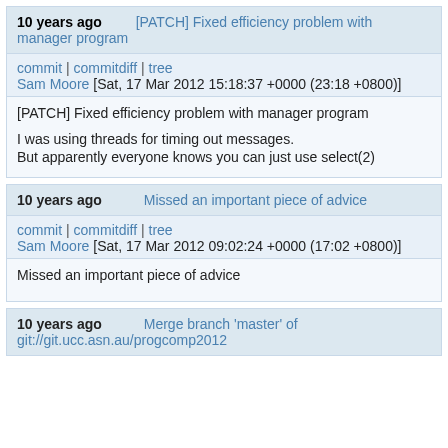10 years ago   [PATCH] Fixed efficiency problem with manager program
commit | commitdiff | tree
Sam Moore [Sat, 17 Mar 2012 15:18:37 +0000 (23:18 +0800)]
[PATCH] Fixed efficiency problem with manager program

I was using threads for timing out messages.
But apparently everyone knows you can just use select(2)
10 years ago   Missed an important piece of advice
commit | commitdiff | tree
Sam Moore [Sat, 17 Mar 2012 09:02:24 +0000 (17:02 +0800)]
Missed an important piece of advice
10 years ago   Merge branch 'master' of git://git.ucc.asn.au/progcomp2012